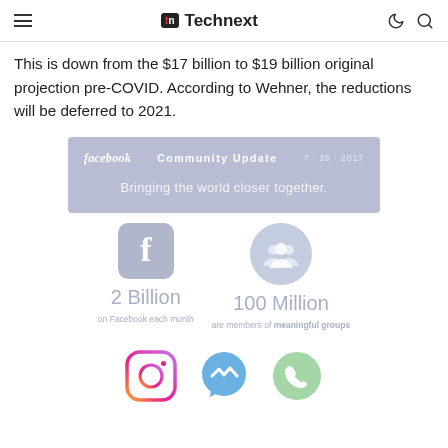Technext
This is down from the $17 billion to $19 billion original projection pre-COVID. According to Wehner, the reductions will be deferred to 2021.
[Figure (infographic): Facebook Community Update dated 7.26.2017 with tagline 'Bringing the world closer together', showing 2 Billion on Facebook each month and 100 Million are members of meaningful groups, with Facebook logo icon and people group icon]
[Figure (infographic): Row of social media app icons: Instagram, Facebook Messenger, and WhatsApp logos at the bottom of the page]